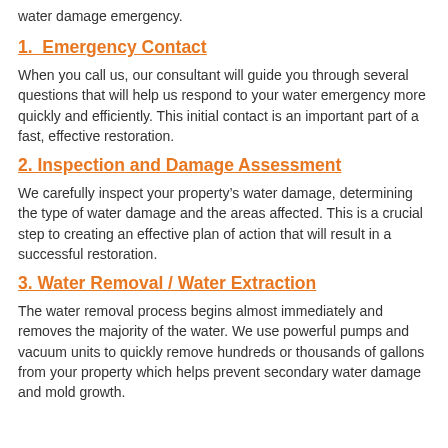water damage emergency.
1.  Emergency Contact
When you call us, our consultant will guide you through several questions that will help us respond to your water emergency more quickly and efficiently. This initial contact is an important part of a fast, effective restoration.
2. Inspection and Damage Assessment
We carefully inspect your property’s water damage, determining the type of water damage and the areas affected. This is a crucial step to creating an effective plan of action that will result in a successful restoration.
3. Water Removal / Water Extraction
The water removal process begins almost immediately and removes the majority of the water. We use powerful pumps and vacuum units to quickly remove hundreds or thousands of gallons from your property which helps prevent secondary water damage and mold growth.